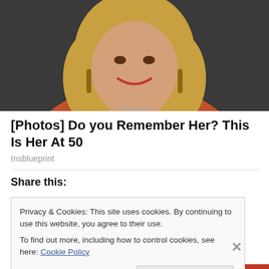[Figure (photo): Portrait photo of a smiling blonde woman wearing an orange top and earrings, cropped at shoulders, dark background]
[Photos] Do you Remember Her? This Is Her At 50
Insblueprint
Share this:
Privacy & Cookies: This site uses cookies. By continuing to use this website, you agree to their use.
To find out more, including how to control cookies, see here: Cookie Policy
Close and accept